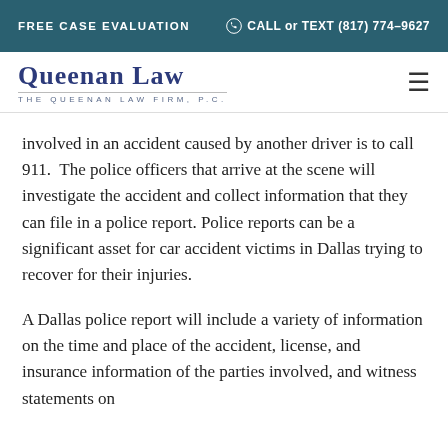FREE CASE EVALUATION   CALL or TEXT (817) 774-9627
[Figure (logo): Queenan Law - The Queenan Law Firm, P.C. logo in blue]
involved in an accident caused by another driver is to call 911. The police officers that arrive at the scene will investigate the accident and collect information that they can file in a police report. Police reports can be a significant asset for car accident victims in Dallas trying to recover for their injuries.
A Dallas police report will include a variety of information on the time and place of the accident, license, and insurance information of the parties involved, and witness statements on